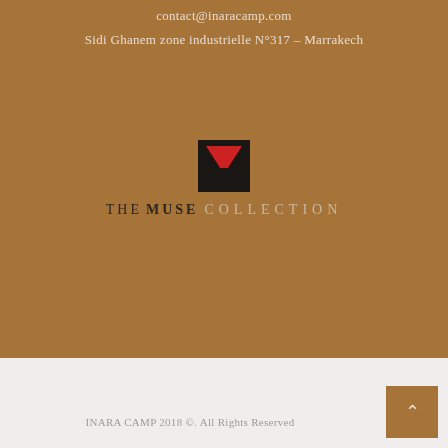contact@inaracamp.com
Sidi Ghanem zone industrielle N°317 – Marrakech
[Figure (logo): The Muse Collection logo — a geometric icon with a black square containing a red downward-pointing triangle and a smaller black triangle, above the text THE MUSE COLLECTION]
INARA CAMP 2018 ©. All Rights Reserved